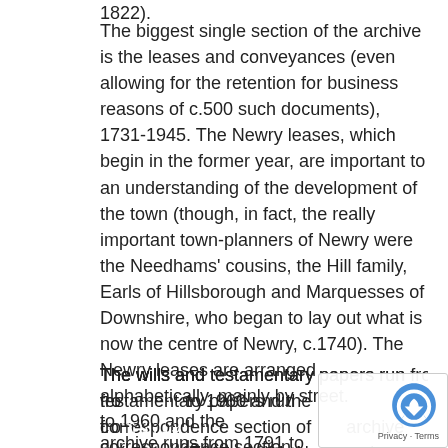1822).
The biggest single section of the archive is the leases and conveyances (even allowing for the retention for business reasons of c.500 such documents), 1731-1945. The Newry leases, which begin in the former year, are important to an understanding of the development of the town (though, in fact, the really important town-planners of Newry were the Needhams' cousins, the Hill family, Earls of Hillsborough and Marquesses of Downshire, who began to lay out what is now the centre of Newry, c.1740). The Newry leases are arranged alphabetically, mainly by street.
The wills and testamentary papers run from 1719 to 1960 and the correspondence section of the archive runs from 1791 to 1961. Newscutting